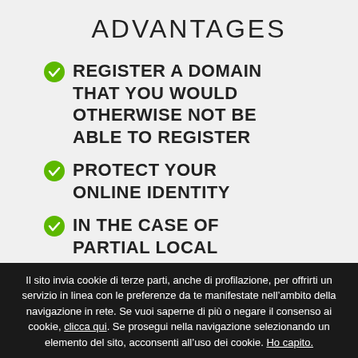ADVANTAGES
REGISTER A DOMAIN THAT YOU WOULD OTHERWISE NOT BE ABLE TO REGISTER
PROTECT YOUR ONLINE IDENTITY
IN THE CASE OF PARTIAL LOCAL PRESENCE, YOU HAVE DOMAIN OWNERSHIP
Il sito invia cookie di terze parti, anche di profilazione, per offrirti un servizio in linea con le preferenze da te manifestate nell’ambito della navigazione in rete. Se vuoi saperne di più o negare il consenso ai cookie, clicca qui. Se prosegui nella navigazione selezionando un elemento del sito, acconsenti all’uso dei cookie. Ho capito.